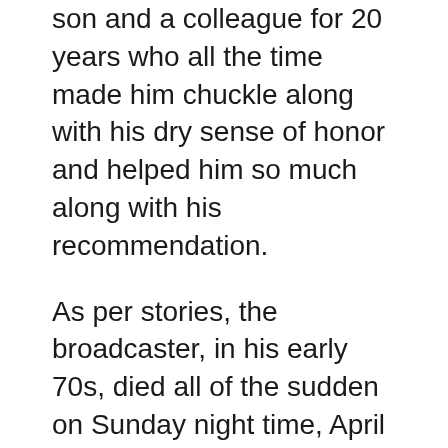son and a colleague for 20 years who all the time made him chuckle along with his dry sense of honor and helped him so much along with his recommendation.
As per stories, the broadcaster, in his early 70s, died all of the sudden on Sunday night time, April 24, 2022, working proper up till his demise as an in a single day host, newsreader, and host of the favored My Day present. At 9 AM right this moment, Newstalk ZB paused its common programming to permit listeners to pay respect to Russell. Russell was the station's material, in response to host Tim Beveridge, who claimed he had over